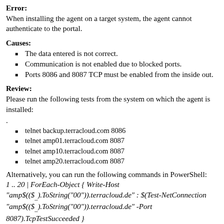Error:
When installing the agent on a target system, the agent cannot authenticate to the portal.
Causes:
The data entered is not correct.
Communication is not enabled due to blocked ports.
Ports 8086 and 8087 TCP must be enabled from the inside out.
Review:
Please run the following tests from the system on which the agent is installed:
.
telnet backup.terracloud.com 8086
telnet amp01.terracloud.com 8087
telnet amp10.terracloud.com 8087
telnet amp20.terracloud.com 8087
Alternatively, you can run the following commands in PowerShell:
1 .. 20 | ForEach-Object { Write-Host
"amp$(($_).ToString("00")).terracloud.de" : $(Test-NetConnection
"amp$(($_).ToString("00")).terracloud.de" -Port
8087).TcpTestSucceeded }